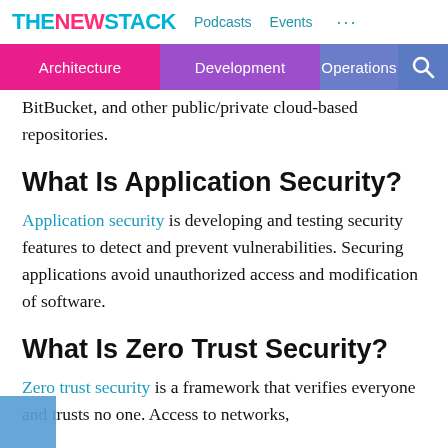THE NEW STACK  Podcasts  Events  ...
Architecture  Development  Operations
BitBucket, and other public/private cloud-based repositories.
What Is Application Security?
Application security is developing and testing security features to detect and prevent vulnerabilities. Securing applications avoid unauthorized access and modification of software.
What Is Zero Trust Security?
Zero trust security is a framework that verifies everyone and trusts no one. Access to networks,